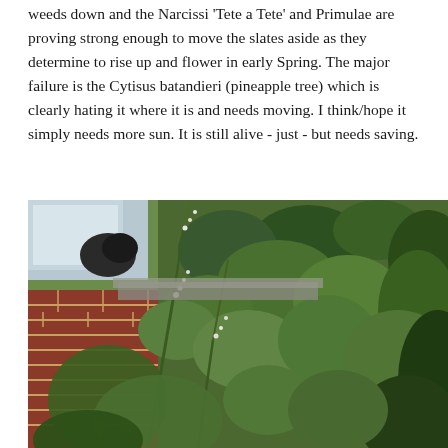weeds down and the Narcissi 'Tete a Tete' and Primulae are proving strong enough to move the slates aside as they determine to rise up and flower in early Spring. The major failure is the Cytisus batandieri (pineapple tree) which is clearly hating it where it is and needs moving. I think/hope it simply needs more sun. It is still alive - just - but needs saving.
[Figure (photo): Garden photo showing green leafy plants and shrubs growing against a red brick wall, with pink flowers visible at the base. A dark bird or object is visible in the background near what appears to be a shed or structure.]